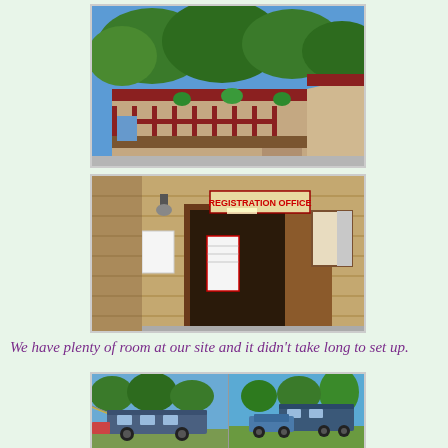[Figure (photo): Exterior of a campground building with red trim porch railings, hanging plants, and trees in background, with a parking area in front.]
[Figure (photo): Close-up of a Registration Office entrance with a sign above the door, bulletin board, and lamp mounted on the wall.]
We have plenty of room at our site and it didn't take long to set up.
[Figure (photo): Two side-by-side photos: left shows a large RV/motorcoach with awning extended under trees; right shows RVs parked in a green campground with palm trees.]